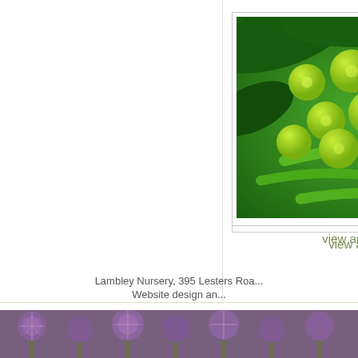[Figure (photo): Close-up photo of green peas in pods with leaves]
view and buy
p...
(B...
No...
Me... by... gr... for...
R...
« first  ‹ previous
A  B  C  D  E  F  G  H
Lambley Nursery, 395 Lesters Roa...
Website design an...
[Figure (photo): Bottom strip showing purple thistle-like flowers]